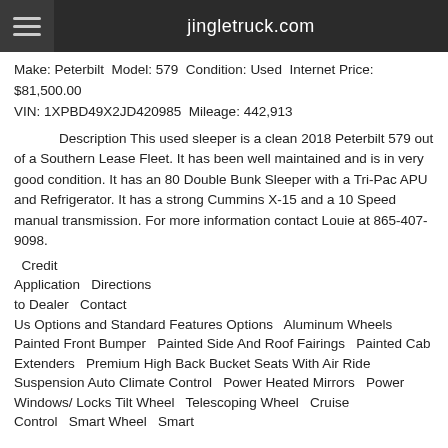jingletruck.com
Make: Peterbilt Model: 579 Condition: Used Internet Price: $81,500.00 VIN: 1XPBD49X2JD420985 Mileage: 442,913
Description This used sleeper is a clean 2018 Peterbilt 579 out of a Southern Lease Fleet. It has been well maintained and is in very good condition. It has an 80 Double Bunk Sleeper with a Tri-Pac APU and Refrigerator. It has a strong Cummins X-15 and a 10 Speed manual transmission. For more information contact Louie at 865-407-9098.
Credit Application   Directions to Dealer   Contact Us Options and Standard Features Options   Aluminum Wheels   Painted Front Bumper   Painted Side And Roof Fairings   Painted Cab Extenders   Premium High Back Bucket Seats With Air Ride Suspension Auto Climate Control   Power Heated Mirrors   Power Windows/ Locks Tilt Wheel   Telescoping Wheel   Cruise Control   Smart Wheel   Smart